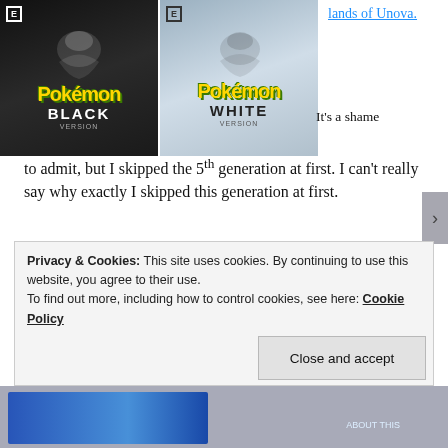[Figure (screenshot): Pokemon Black Version and Pokemon White Version game covers side by side, with game box artwork]
lands of Unova.
It's a shame to admit, but I skipped the 5th generation at first. I can't really say why exactly I skipped this generation at first.
Now, I did play the games a few years ago when Pokémon Sun & Moon was in development. And I'm so glad I did. This generation brought so many enjoyable moments, I can totally understand why this game was quite well received.
Now, at this moment in time, this is the only main series
Privacy & Cookies: This site uses cookies. By continuing to use this website, you agree to their use.
To find out more, including how to control cookies, see here: Cookie Policy
Close and accept